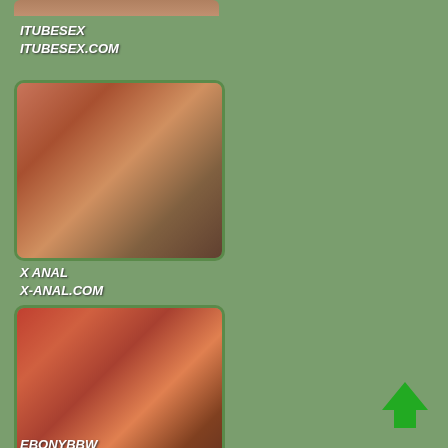[Figure (photo): Thumbnail image at top, partially visible]
ITUBESEX
ITUBESEX.COM
[Figure (photo): Thumbnail image showing two people in an indoor setting]
X ANAL
X-ANAL.COM
[Figure (photo): Thumbnail image showing people in a scene]
EBONYBBW
[Figure (illustration): Green upward arrow icon in bottom right]